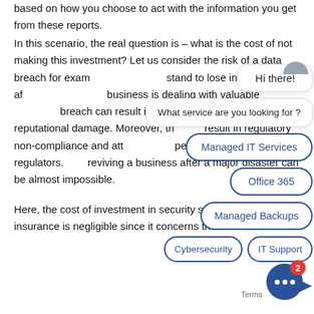based on how you choose to act with the information you get from these reports.
In this scenario, the real question is – what is the cost of not making this investment? Let us consider the risk of a data breach for example. You stand to lose in the aftermath if your business is dealing with valuable data, as a breach can result in unrecoverable financial losses as well as reputational damage. Moreover, this can also result in regulatory non-compliance and attract heavy penalties from various regulators. Furthermore, reviving a business after a major disaster can be almost impossible.
[Figure (screenshot): Chat widget overlay showing 'Hi there!' greeting bubble, 'What service are you looking for?' prompt, and service option buttons: Managed IT Services, Office 365, Managed Backups, Cybersecurity, IT Support. A chat icon with badge showing '2' and an arrow are at the bottom right.]
Here, the cost of investment in security solutions and cyber insurance is negligible since it concerns the very survival of the business. You are not just looking